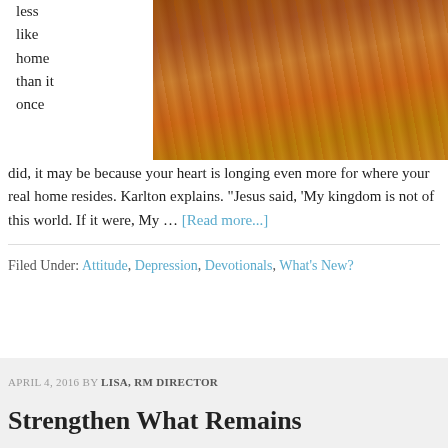[Figure (photo): Outdoor landscape photo showing dry red/orange earthen terrain with dry grass and a wooden post or fence in the background, under a pale sky.]
less like home than it once did, it may be because your heart is longing even more for where your real home resides. Karlton explains. "Jesus said, 'My kingdom is not of this world. If it were, My … [Read more...]
Filed Under: Attitude, Depression, Devotionals, What's New?
APRIL 4, 2016 BY LISA, RM DIRECTOR
Strengthen What Remains